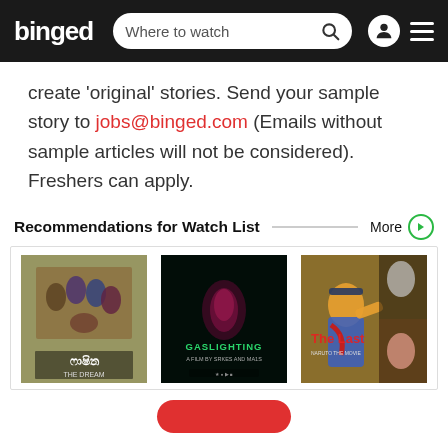binged — Where to watch
create ‘original’ stories. Send your sample story to jobs@binged.com (Emails without sample articles will not be considered). Freshers can apply.
Recommendations for Watch List
[Figure (photo): Three movie poster thumbnails: (1) A family group photo movie poster with Sinhala script title and 'THE DREAM', (2) Dark moody poster titled 'GASLIGHTING - A FILM BY SRKES AND MA1S', (3) Anime movie poster 'The Last - Naruto the Movie']